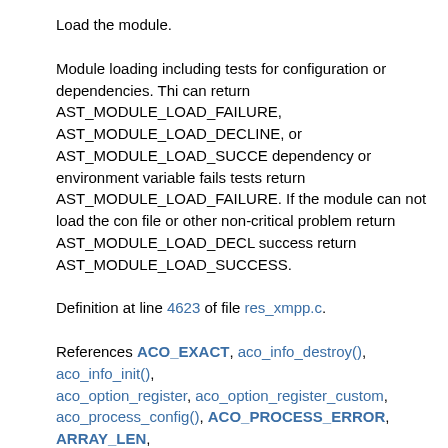Load the module.
Module loading including tests for configuration or dependencies. This can return AST_MODULE_LOAD_FAILURE, AST_MODULE_LOAD_DECLINE, or AST_MODULE_LOAD_SUCCESS. If a dependency or environment variable fails tests return AST_MODULE_LOAD_FAILURE. If the module can not load the config file or other non-critical problem return AST_MODULE_LOAD_DECLINE. On success return AST_MODULE_LOAD_SUCCESS.
Definition at line 4623 of file res_xmpp.c.
References ACO_EXACT, aco_info_destroy(), aco_info_init(), aco_option_register, aco_option_register_custom, aco_process_config(), ACO_PROCESS_ERROR, ARRAY_LEN, ast_cli_register_multiple, ast_cond_init, ast_custom_function_r ast_eid_default, ast_eid_is_empty(), ast_log, ast_manager_regis AST_MODULE_LOAD_DECLINE, AST_MODULE_LOAD_SUCCESS, ast_msg_tech_register(), ast_mutex_init, ast_register_applicatio client_bitfield_handler(), client_buddy_handler(), client_status_h context, EVENT_FLAG_SYSTEM, FLDSET, global_bitfield_handl